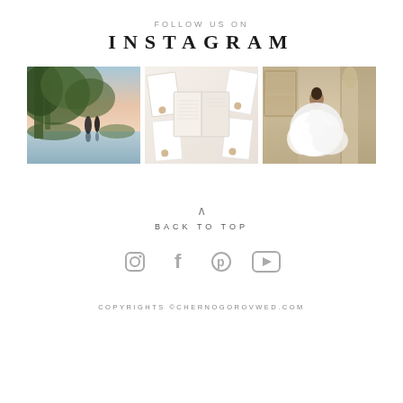FOLLOW US ON
INSTAGRAM
[Figure (photo): Three Instagram photos: couple by pool at sunset under trees; open book/album with gold seal stationery; bride in white dress sitting in ornate room]
BACK TO TOP
[Figure (infographic): Social media icons: Instagram, Facebook, Pinterest, YouTube]
COPYRIGHTS ©CHERNOGOROVWED.COM